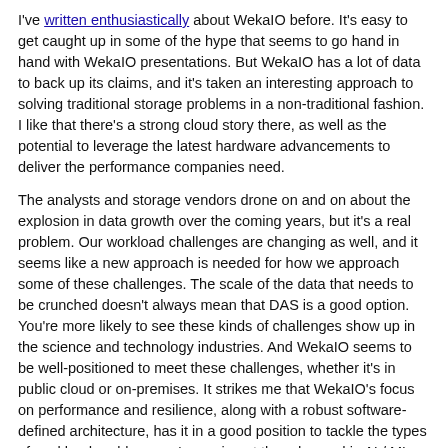I've written enthusiastically about WekaIO before. It's easy to get caught up in some of the hype that seems to go hand in hand with WekaIO presentations. But WekaIO has a lot of data to back up its claims, and it's taken an interesting approach to solving traditional storage problems in a non-traditional fashion. I like that there's a strong cloud story there, as well as the potential to leverage the latest hardware advancements to deliver the performance companies need.
The analysts and storage vendors drone on and on about the explosion in data growth over the coming years, but it's a real problem. Our workload challenges are changing as well, and it seems like a new approach is needed for how we approach some of these challenges. The scale of the data that needs to be crunched doesn't always mean that DAS is a good option. You're more likely to see these kinds of challenges show up in the science and technology industries. And WekaIO seems to be well-positioned to meet these challenges, whether it's in public cloud or on-premises. It strikes me that WekaIO's focus on performance and resilience, along with a robust software-defined architecture, has it in a good position to tackle the types of workload problems we're seeing at the edge and in AI / ML focused environments. I'm really looking forward to seeing what comes next for WekaIO.
SHARE THIS: